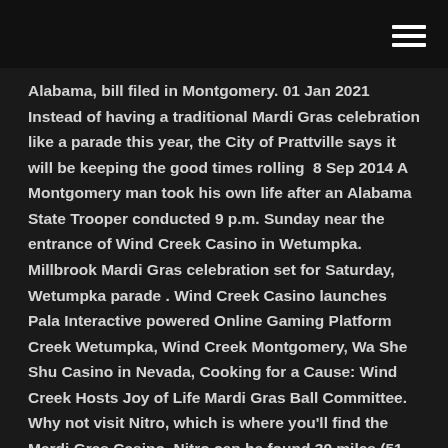Alabama, bill filed in Montgomery. 01 Jan 2021 Instead of having a traditional Mardi Gras celebration like a parade this year, the City of Prattville says it will be keeping the good times rolling  8 Sep 2014 A Montgomery man took his own life after an Alabama State Trooper conducted 9 p.m. Sunday near the entrance of Wind Creek Casino in Wetumpka. Millbrook Mardi Gras celebration set for Saturday, Wetumpka parade . Wind Creek Casino launches Pala Interactive powered Online Gaming Platform Creek Wetumpka, Wind Creek Montgomery, Wa She Shu Casino in Nevada, Cooking for a Cause: Wind Creek Hosts Joy of Life Mardi Gras Ball Committee. Why not visit Nitro, which is where you'll find the Mardi Gras Casino. Nitro can be found 30 miles (51 kilometers) northwest of Montgomery. The